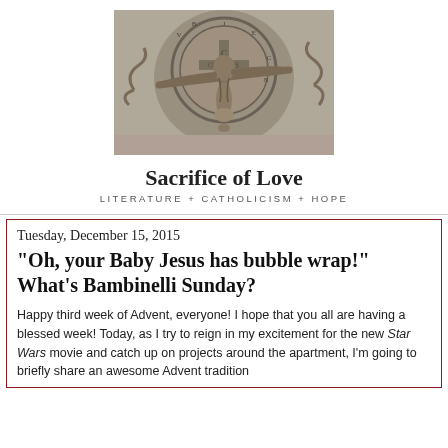[Figure (photo): Black and white photograph of a crucifix with a circular medallion showing letters C, S, N, D, S, M, D, B (Saint Benedict medal) in the background]
Sacrifice of Love
LITERATURE + CATHOLICISM + HOPE
Tuesday, December 15, 2015
"Oh, your Baby Jesus has bubble wrap!" What's Bambinelli Sunday?
Happy third week of Advent, everyone! I hope that you all are having a blessed week! Today, as I try to reign in my excitement for the new Star Wars movie and catch up on projects around the apartment, I'm going to briefly share an awesome Advent tradition